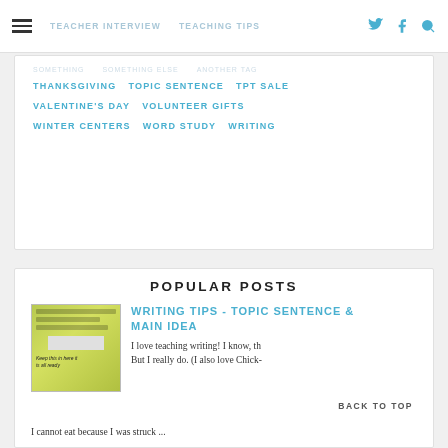TEACHER INTERVIEW   TEACHING TIPS
THANKSGIVING   TOPIC SENTENCE   TPT SALE
VALENTINE'S DAY   VOLUNTEER GIFTS
WINTER CENTERS   WORD STUDY   WRITING
POPULAR POSTS
[Figure (photo): A handwritten student writing sample on green paper]
WRITING TIPS - TOPIC SENTENCE & MAIN IDEA
I love teaching writing! I know, th But I really do. (I also love Chick- I cannot eat because I was struck ...